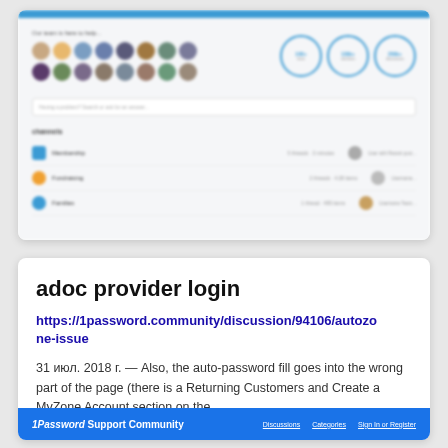[Figure (screenshot): Blurred screenshot of a community/forum website showing avatar circles, stats badges (100+, 130K+, 250K+), a search bar, and a channels list with rows for Membership, Fundraising, and Families]
adoc provider login
https://1password.community/discussion/94106/autozone-issue
31 июл. 2018 г. — Also, the auto-password fill goes into the wrong part of the page (there is a Returning Customers and Create a MyZone Account section on the ...
[Figure (screenshot): Blue footer bar of the 1Password Support Community website showing logo and navigation links]